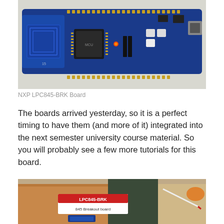[Figure (photo): NXP LPC845-BRK development board photographed from above on a white surface. The board is a long rectangular blue PCB with gold pads along the edges, a microcontroller chip in the center-left, buttons, LEDs, and a USB connector.]
NXP LPC845-BRK Board
The boards arrived yesterday, so it is a perfect timing to have them (and more of it) integrated into the next semester university course material. So you will probably see a few more tutorials for this board.
[Figure (photo): Photo of LPC845-BRK packaging and board. Shows a cardboard box with a red and white label reading 'LPC845-BRK 845 Breakout board', a small blue PCB board, a green notebook, a pen, and an orange object in the background.]